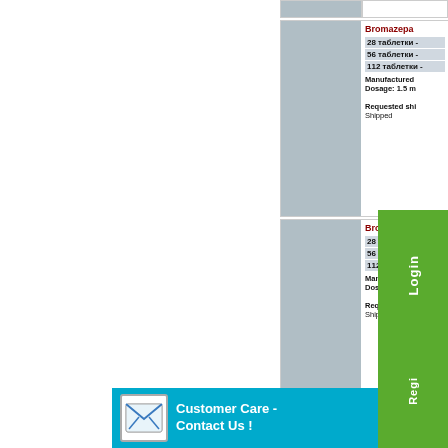[Figure (other): Product image placeholder - light blue/grey cell (top strip)]
Bromazepam
28 таблетки -
56 таблетки -
112 таблетки -
Manufactured
Dosage: 1.5 m
Requested shi
Shipped
[Figure (other): Product image placeholder - light blue/grey cell (second product row)]
Bromazepam
28 таблетки -
56 таблетки -
112 таблетки -
Manufactured
Dosage:
Requested
Shipped
[Figure (other): Cadflo 20m product image placeholder (partial bottom row)]
Cadflo 20m
30 таблетки -
[Figure (infographic): Green Login and Register overlay buttons on right side]
Login
Regi
Customer Care - Contact Us !